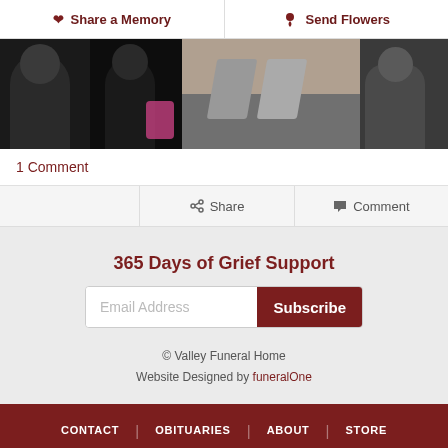Share a Memory | Send Flowers
[Figure (photo): Strip of four photos showing people in various outdoor/indoor settings]
1 Comment
Share | Comment
365 Days of Grief Support
Email Address [Subscribe button]
© Valley Funeral Home
Website Designed by funeralOne
CONTACT | OBITUARIES | ABOUT | STORE